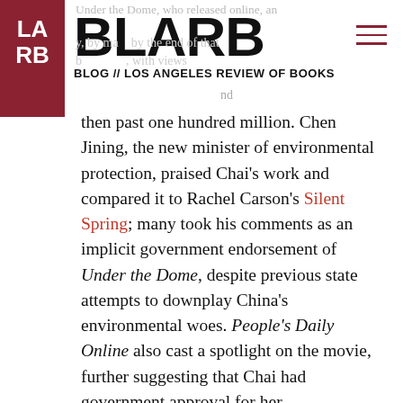BLARB — BLOG // LOS ANGELES REVIEW OF BOOKS
then past one hundred million. Chen Jining, the new minister of environmental protection, praised Chai's work and compared it to Rachel Carson's Silent Spring; many took his comments as an implicit government endorsement of Under the Dome, despite previous state attempts to downplay China's environmental woes. People's Daily Online also cast a spotlight on the movie, further suggesting that Chai had government approval for her investigation.
But then, after 250 million-plus views of the documentary, Under the Dome fell under the axe, disappearing in plain sight on Friday,